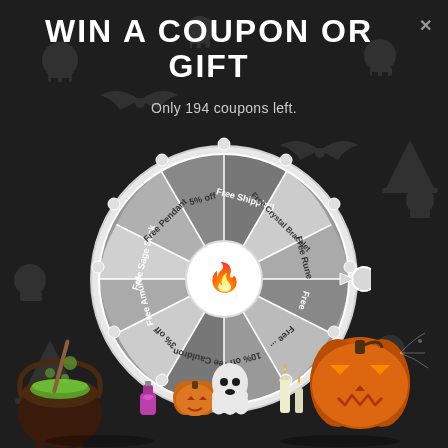WIN A COUPON OR GIFT ×
Only 194 coupons left.
[Figure (infographic): A spinning prize wheel with Halloween theme. Segments include: Free Amulet, Free Sage Stick, Free Pendant, 5% off, Free Shipping, Free Crystal Bracelet, Free Rune, Free (Crystal), Free (Charm), 10% off, Free Cauldron, 3% off. Center has a logo. Wheel is gray-scale with alternating light and dark segments. Decorative knobs around the rim. Pointer on right side.]
[Figure (illustration): Halloween decorations at the bottom: a cauldron with green potion, a jack-o-lantern pumpkin, a skull, candles, and another pumpkin with evil face.]